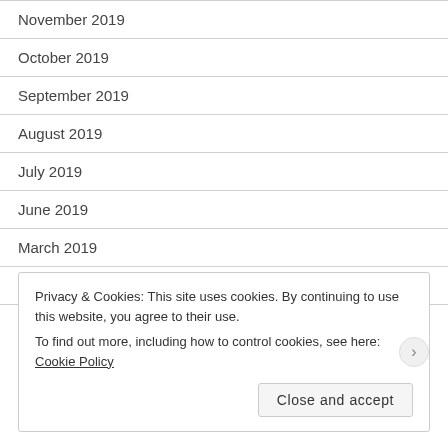November 2019
October 2019
September 2019
August 2019
July 2019
June 2019
March 2019
October 2018
Privacy & Cookies: This site uses cookies. By continuing to use this website, you agree to their use.
To find out more, including how to control cookies, see here: Cookie Policy